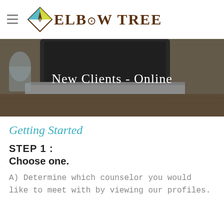ELBOW TREE (logo with diamond icon)
[Figure (photo): Hero banner photograph of a laptop on a wooden desk with a glass of water in the background, overlaid with text 'New Clients - Online']
New Clients - Online
Getting Started
STEP 1 :
Choose one.
A) Determine which counselor you would like to meet with by viewing our profiles.